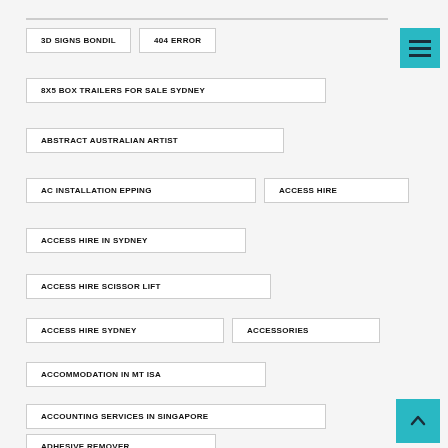3D SIGNS BONDIL
404 ERROR
8X5 BOX TRAILERS FOR SALE SYDNEY
ABSTRACT AUSTRALIAN ARTIST
AC INSTALLATION EPPING
ACCESS HIRE
ACCESS HIRE IN SYDNEY
ACCESS HIRE SCISSOR LIFT
ACCESS HIRE SYDNEY
ACCESSORIES
ACCOMMODATION IN MT ISA
ACCOUNTING SERVICES IN SINGAPORE
ADHESIVE REMOVER